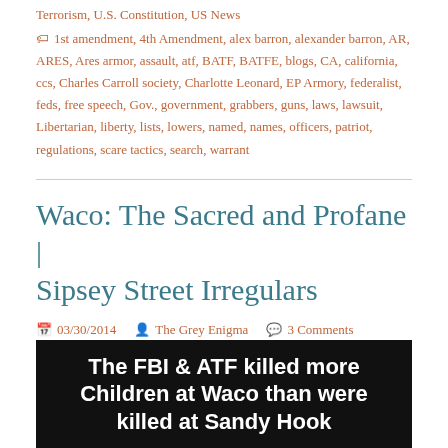Terrorism, U.S. Constitution, US News
1st amendment, 4th Amendment, alex barron, alexander barron, AR, ARES, Ares armor, assault, atf, BATF, BATFE, blogs, CA, california, ccs, Charles Carroll society, Charlotte Leonard, EP Armory, federalist, feds, free speech, Gov., government, grabbers, guns, laws, lawsuit, Libertarian, liberty, lists, lowers, named, names, officers, patriot, regulations, scare tactics, search, warrant
Waco: The Sacred and Profane | Sipsey Street Irregulars
03/30/2014   The Grey Enigma   3 Comments
[Figure (photo): Black background image with white bold text reading: The FBI & ATF killed more Children at Waco than were killed at Sandy Hook]